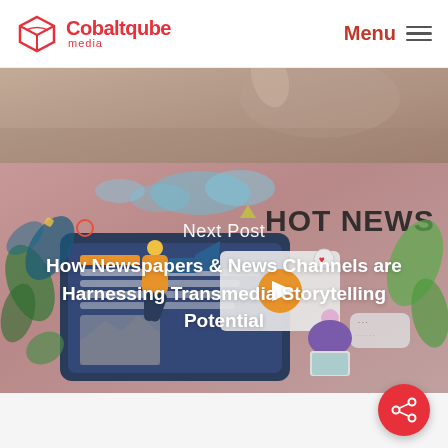Cobaltqube media — Menu
[Figure (photo): Background blurred photo of a hand holding a phone, muted beige/brown tones]
[Figure (illustration): Hot News media illustration with a person holding a megaphone, tablet device, laptop user, plants and decorative elements on a pinkish-brown background]
Next Post
How Newspapers & News Channels are Harnessing Transmedia Storytelling Potential
[Figure (other): Red circular share button with share icon in bottom right corner]